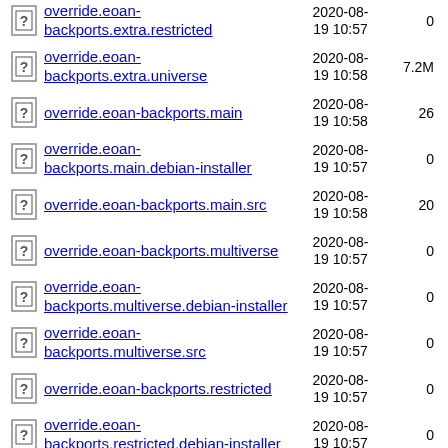override.eoan-backports.extra.restricted 2020-08-19 10:57 0
override.eoan-backports.extra.universe 2020-08-19 10:58 7.2M
override.eoan-backports.main 2020-08-19 10:58 26
override.eoan-backports.main.debian-installer 2020-08-19 10:57 0
override.eoan-backports.main.src 2020-08-19 10:58 20
override.eoan-backports.multiverse 2020-08-19 10:57 0
override.eoan-backports.multiverse.debian-installer 2020-08-19 10:57 0
override.eoan-backports.multiverse.src 2020-08-19 10:57 0
override.eoan-backports.restricted 2020-08-19 10:57 0
override.eoan-backports.restricted.debian-installer 2020-08-19 10:57 0
override.eoan-backports.restricted.src 2020-08-19 10:57 0
override.eoan-backports... 2020-08-...  850